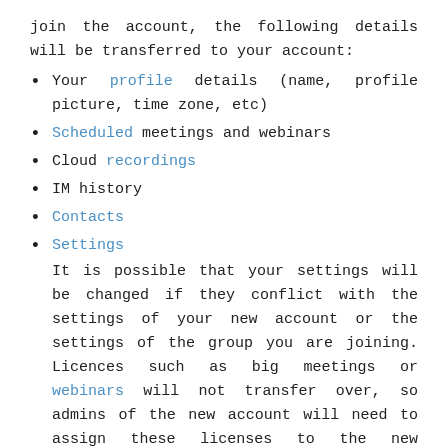join the account, the following details will be transferred to your account:
Your profile details (name, profile picture, time zone, etc)
Scheduled meetings and webinars
Cloud recordings
IM history
Contacts
Settings
It is possible that your settings will be changed if they conflict with the settings of your new account or the settings of the group you are joining. Licences such as big meetings or webinars will not transfer over, so admins of the new account will need to assign these licenses to the new account. It is also worth noting that they will not receive any report data from the new